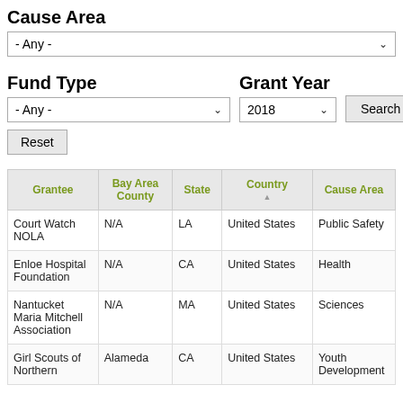Cause Area
- Any - (dropdown)
Fund Type
Grant Year
- Any - (dropdown)
2018 (dropdown)
Search (button)
Reset (button)
| Grantee | Bay Area County | State | Country | Cause Area |
| --- | --- | --- | --- | --- |
| Court Watch NOLA | N/A | LA | United States | Public Safety |
| Enloe Hospital Foundation | N/A | CA | United States | Health |
| Nantucket Maria Mitchell Association | N/A | MA | United States | Sciences |
| Girl Scouts of Northern | Alameda | CA | United States | Youth Development |